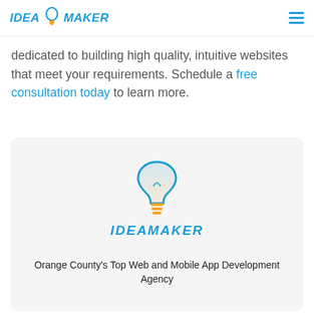IDEA MAKER
dedicated to building high quality, intuitive websites that meet your requirements. Schedule a free consultation today to learn more.
[Figure (logo): Ideamaker logo with lightbulb icon and text IDEAMAKER, above subtitle Orange County's Top Web and Mobile App Development Agency]